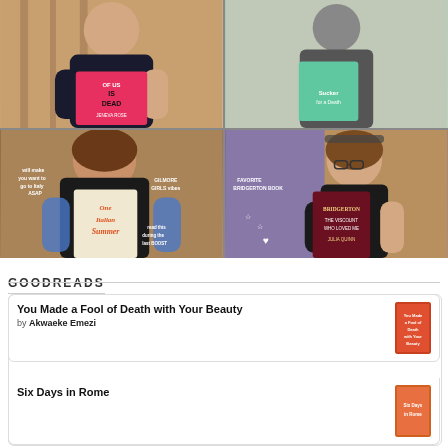[Figure (photo): 2x2 grid of photos showing people holding books: top-left person holds 'One of Us Is Dead' by Jeneva Rose, top-right person holds a book with teal cover, bottom-left person holds 'One Italian Summer' with annotations 'will make you want to go to Italy ASAP', 'Gilmore Girls vibes', 'read this during the last BOOST', bottom-right person holds 'Bridgerton: The Viscount Who Loved Me' by Julia Quinn with annotation 'Favorite Bridgerton Book']
GOODREADS
You Made a Fool of Death with Your Beauty
by Akwaeke Emezi
Six Days in Rome